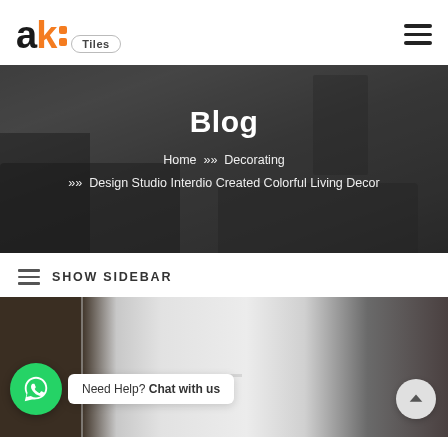[Figure (logo): AK Tiles logo with orange and black lettering, pill-shaped 'Tiles' badge]
[Figure (photo): Hero banner with darkened living room interior photo, showing sofa, chair, and plant]
Blog
Home >> Decorating >> Design Studio Interdio Created Colorful Living Decor
SHOW SIDEBAR
[Figure (photo): Bottom partial image of an interior room with dark wood and light walls]
Need Help? Chat with us